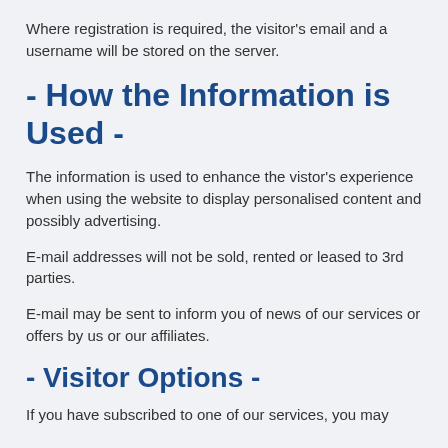Where registration is required, the visitor's email and a username will be stored on the server.
- How the Information is Used -
The information is used to enhance the vistor's experience when using the website to display personalised content and possibly advertising.
E-mail addresses will not be sold, rented or leased to 3rd parties.
E-mail may be sent to inform you of news of our services or offers by us or our affiliates.
- Visitor Options -
If you have subscribed to one of our services, you may